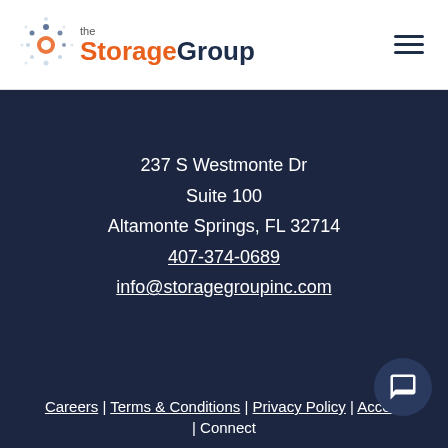the StorageGroup
237 S Westmonte Dr
Suite 100
Altamonte Springs, FL 32714
407-374-0689
info@storagegroupinc.com
Careers | Terms & Conditions | Privacy Policy | Accessibility | Connect